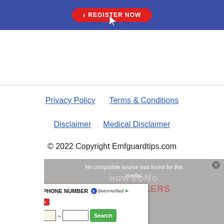[Figure (screenshot): Blue banner with red REGISTER NOW button and cursor pointer icon]
Privacy Policy   Terms & Conditions
Disclaimer   Medical Disclaimer
© 2022 Copyright Emfguardtips.com
[Figure (screenshot): BeenVerified phone number search widget overlapping a video player ad showing 'No compatible source was found for this media.' with background text 'HOW LONG EMF STICKERS LAST'. Search widget has area code input fields and green Search button.]